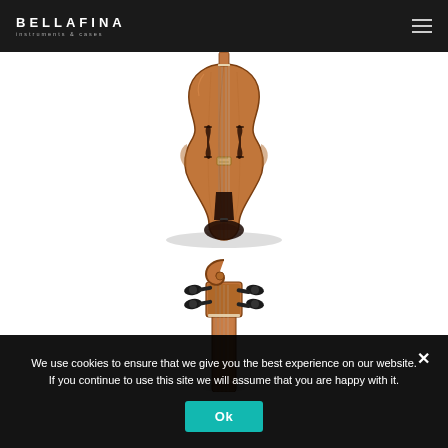BELLAFINA instruments & cases
[Figure (photo): Front view of a violin body showing the top plate, f-holes, bridge, strings, and chinrest on a white background]
[Figure (photo): Top-down view of a violin scroll and pegbox with tuning pegs on a white background]
We use cookies to ensure that we give you the best experience on our website. If you continue to use this site we will assume that you are happy with it.
Ok